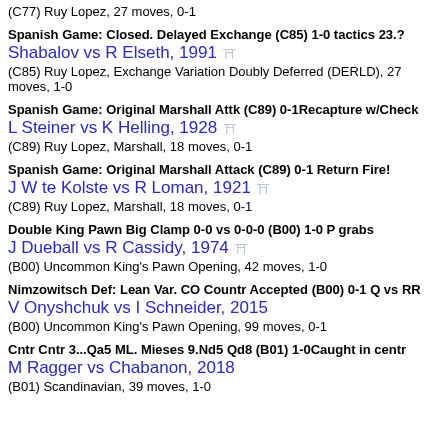(C77) Ruy Lopez, 27 moves, 0-1
Spanish Game: Closed. Delayed Exchange (C85) 1-0 tactics 23.?
Shabalov vs R Elseth, 1991
(C85) Ruy Lopez, Exchange Variation Doubly Deferred (DERLD), 27 moves, 1-0
Spanish Game: Original Marshall Attk (C89) 0-1Recapture w/Check
L Steiner vs K Helling, 1928
(C89) Ruy Lopez, Marshall, 18 moves, 0-1
Spanish Game: Original Marshall Attack (C89) 0-1 Return Fire!
J W te Kolste vs R Loman, 1921
(C89) Ruy Lopez, Marshall, 18 moves, 0-1
Double King Pawn Big Clamp 0-0 vs 0-0-0 (B00) 1-0 P grabs
J Dueball vs R Cassidy, 1974
(B00) Uncommon King's Pawn Opening, 42 moves, 1-0
Nimzowitsch Def: Lean Var. CO Countr Accepted (B00) 0-1 Q vs RR
V Onyshchuk vs I Schneider, 2015
(B00) Uncommon King's Pawn Opening, 99 moves, 0-1
Cntr Cntr 3...Qa5 ML. Mieses 9.Nd5 Qd8 (B01) 1-0Caught in centr
M Ragger vs Chabanon, 2018
(B01) Scandinavian, 39 moves, 1-0